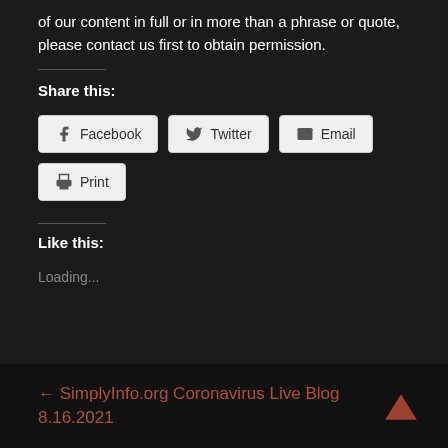of our content in full or in more than a phrase or quote, please contact us first to obtain permission.
Share this:
[Figure (other): Share buttons row: Facebook, Twitter, Email, Print]
Like this:
Loading...
← SimplyInfo.org Coronavirus Live Blog 8.16.2021